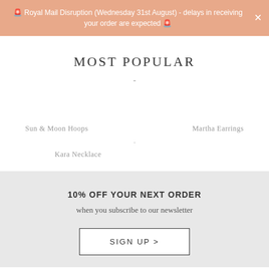🚨 Royal Mail Disruption (Wednesday 31st August) - delays in receiving your order are expected 🚨
MOST POPULAR
-
Sun & Moon Hoops
Martha Earrings
-
Kara Necklace
10% OFF YOUR NEXT ORDER
when you subscribe to our newsletter
SIGN UP >